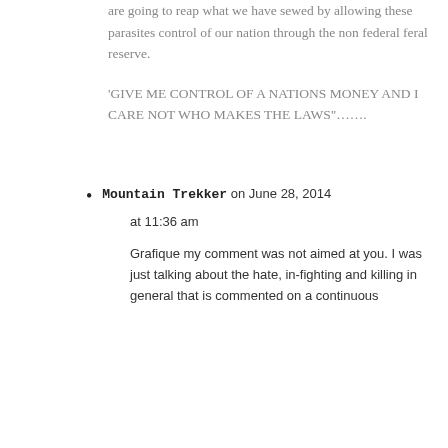are going to reap what we have sewed by allowing these parasites control of our nation through the non federal feral reserve.
‘GIVE ME CONTROL OF A NATIONS MONEY AND I CARE NOT WHO MAKES THE LAWS”…….
Mountain Trekker on June 28, 2014 at 11:36 am
Grafique my comment was not aimed at you. I was just talking about the hate, in-fighting and killing in general that is commented on a continuous